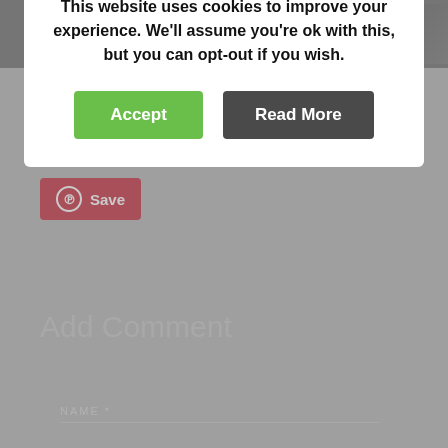[Figure (photo): Black and white photo strip at top of page showing people]
[Figure (logo): Stylized 'SD' or 'D' logo in dark italic text]
Share on Facebook
Save
This website uses cookies to improve your experience. We'll assume you're ok with this, but you can opt-out if you wish.
Accept
Read More
Add Comment
NAME *